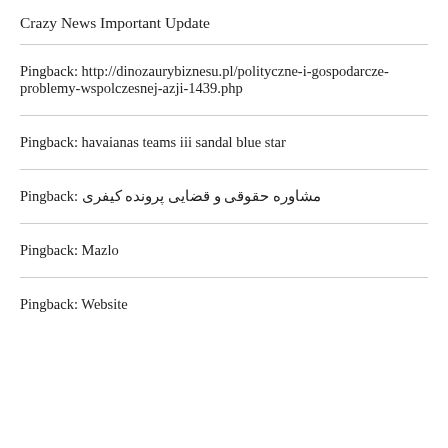Crazy News Important Update
Pingback: http://dinozaurybiznesu.pl/polityczne-i-gospodarcze-problemy-wspolczesnej-azji-1439.php
Pingback: havaianas teams iii sandal blue star
Pingback: مشاوره حقوقی و قضایی پرونده کیفری
Pingback: Mazlo
Pingback: Website